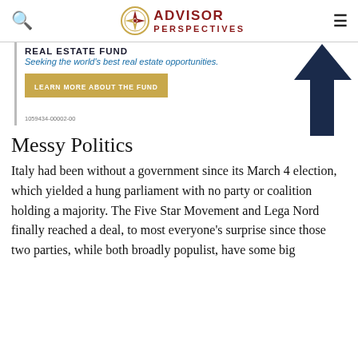ADVISOR PERSPECTIVES
[Figure (advertisement): Advertisement for a Real Estate Fund with tagline 'Seeking the world's best real estate opportunities.' and a 'LEARN MORE ABOUT THE FUND' button, with a dark blue upward arrow graphic and footnote '1059434-00002-00']
Messy Politics
Italy had been without a government since its March 4 election, which yielded a hung parliament with no party or coalition holding a majority. The Five Star Movement and Lega Nord finally reached a deal, to most everyone's surprise since those two parties, while both broadly populist, have some big